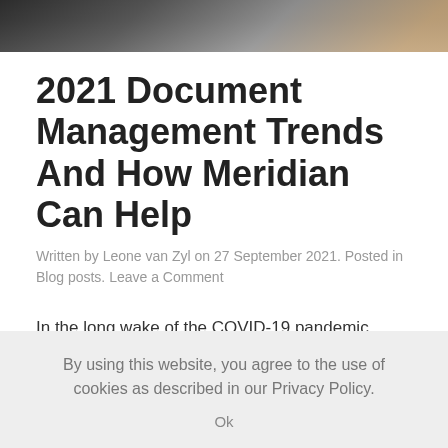[Figure (photo): Dark photograph banner showing a person, partially cropped at the top of the page]
2021 Document Management Trends And How Meridian Can Help
Written by Leone van Zyl on 27 September 2021. Posted in Blog posts. Leave a Comment
In the long wake of the COVID-19 pandemic,
By using this website, you agree to the use of cookies as described in our Privacy Policy.
Ok